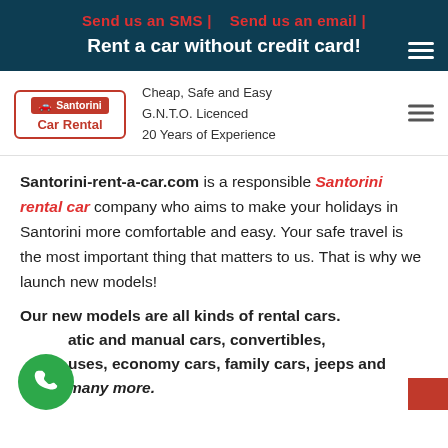Send us an SMS |    Send us an email |
Rent a car without credit card!
[Figure (logo): Santorini Car Rental logo with red border, car icon, and taglines: Cheap, Safe and Easy; G.N.T.O. Licenced; 20 Years of Experience]
Santorini-rent-a-car.com is a responsible Santorini rental car company who aims to make your holidays in Santorini more comfortable and easy. Your safe travel is the most important thing that matters to us. That is why we launch new models!
Our new models are all kinds of rental cars. Automatic and manual cars, convertibles, minibuses, economy cars, family cars, jeeps and many more.